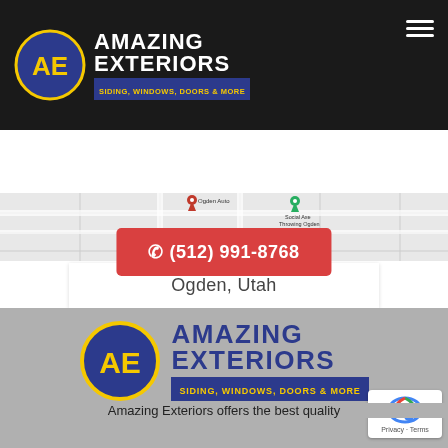[Figure (logo): Amazing Exteriors logo with AE circle emblem, company name in white bold text, tagline 'SIDING, WINDOWS, DOORS & MORE' on dark navy background, hamburger menu icon top right. Black navigation header bar.]
☎ (512) 991-8768
[Figure (map): Partial Google Maps screenshot showing street map with a location pin labeled 'Social Axe Throwing Ogden' and text 'Ogden Auto' visible. Gray and white street grid.]
Ogden, Utah
[Figure (logo): Large Amazing Exteriors logo on gray background: AE circular emblem in navy and yellow, company name 'AMAZING EXTERIORS' in navy bold letters, tagline 'SIDING, WINDOWS, DOORS & MORE' in yellow on navy bar.]
Amazing Exteriors offers the best quality